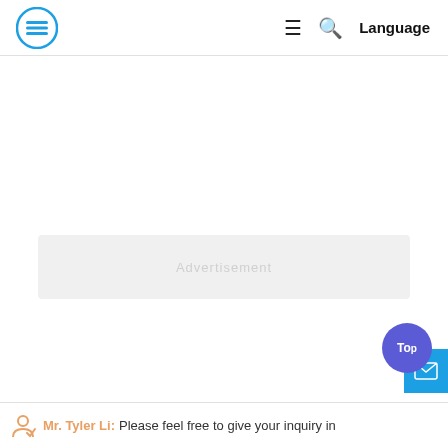Logo | ≡ 🔍 Language
[Figure (other): Gray advertisement banner placeholder]
[Figure (other): Top button (purple circle) and mail button (blue square) UI elements]
Mr. Tyler Li: Please feel free to give your inquiry in